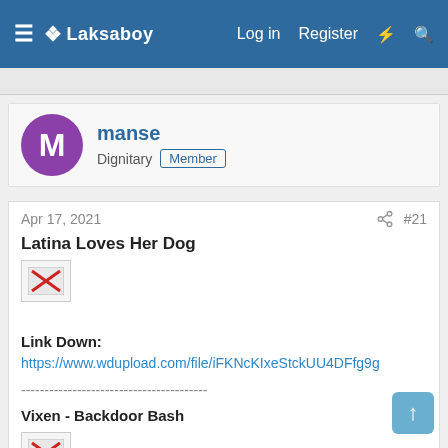Laksaboy  Log in  Register
manse
Dignitary Member
Apr 17, 2021  #21
Latina Loves Her Dog
[Figure (other): Broken image placeholder with red X]
Link Down:
https://www.wdupload.com/file/iFKNcKIxeStckUU4DFfg9g
----------------------------------------
Vixen - Backdoor Bash
[Figure (other): Broken image placeholder with red X]
Size: 151 Mb, duration: 00:14:36